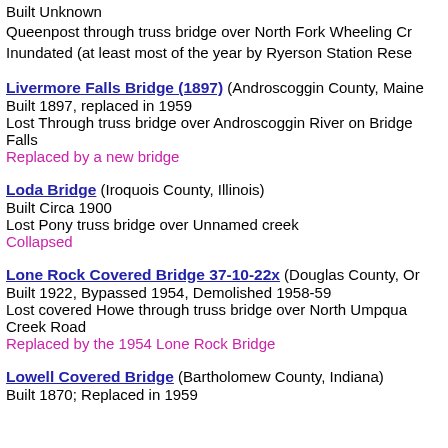Built Unknown
Queenpost through truss bridge over North Fork Wheeling Cr
Inundated (at least most of the year by Ryerson Station Rese
Livermore Falls Bridge (1897) (Androscoggin County, Maine)
Built 1897, replaced in 1959
Lost Through truss bridge over Androscoggin River on Bridge Falls
Replaced by a new bridge
Loda Bridge (Iroquois County, Illinois)
Built Circa 1900
Lost Pony truss bridge over Unnamed creek
Collapsed
Lone Rock Covered Bridge 37-10-22x (Douglas County, Oregon)
Built 1922, Bypassed 1954, Demolished 1958-59
Lost covered Howe through truss bridge over North Umpqua Creek Road
Replaced by the 1954 Lone Rock Bridge
Lowell Covered Bridge (Bartholomew County, Indiana)
Built 1870; Replaced in 1959